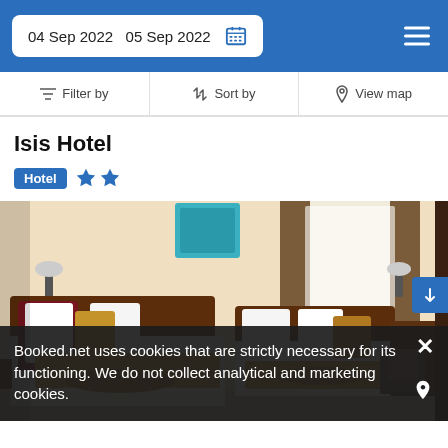04 Sep 2022  05 Sep 2022
Filter by  |  Sort by  |  View map
Isis Hotel
Hotel ★★
[Figure (photo): Hotel room interior with two single beds featuring white linens with gold decorative throws, dark wood headboards, wall-mounted lamps, sheer curtains with brown drapes, a wooden desk and chair in the background.]
Booked.net uses cookies that are strictly necessary for its functioning. We do not collect analytical and marketing cookies.